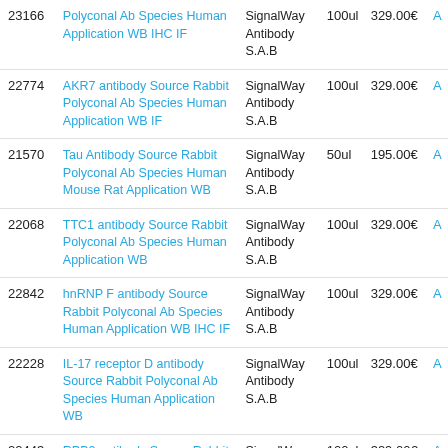| ID | Name | Brand | Size | Price |  |
| --- | --- | --- | --- | --- | --- |
| 23166 | Polyconal Ab Species Human Application WB IHC IF | SignalWay Antibody S.A.B | 100ul | 329.00€ | A |
| 22774 | AKR7 antibody Source Rabbit Polyconal Ab Species Human Application WB IF | SignalWay Antibody S.A.B | 100ul | 329.00€ | A |
| 21570 | Tau Antibody Source Rabbit Polyconal Ab Species Human Mouse Rat Application WB | SignalWay Antibody S.A.B | 50ul | 195.00€ | A |
| 22068 | TTC1 antibody Source Rabbit Polyconal Ab Species Human Application WB | SignalWay Antibody S.A.B | 100ul | 329.00€ | A |
| 22842 | hnRNP F antibody Source Rabbit Polyconal Ab Species Human Application WB IHC IF | SignalWay Antibody S.A.B | 100ul | 329.00€ | A |
| 22228 | IL-17 receptor D antibody Source Rabbit Polyconal Ab Species Human Application WB | SignalWay Antibody S.A.B | 100ul | 329.00€ | A |
| 22443 | RPB8 antibody Source Rabbit Polyconal Ab Species Human Application WB | SignalWay Antibody S.A.B | 100ul | 329.00€ | A |
| 23010 | Histone H2A.Z H2A.F Z antibody Source Rabbit Polyconal Ab Species Human Application WB IHC IF | SignalWay Antibody S.A.B | 100ul | 329.00€ | A |
| 22603 | INPP1 antibody Source Rabbit Polyconal Ab Species Human | SignalWay Antibody | 100ul | 329.00€ | A |